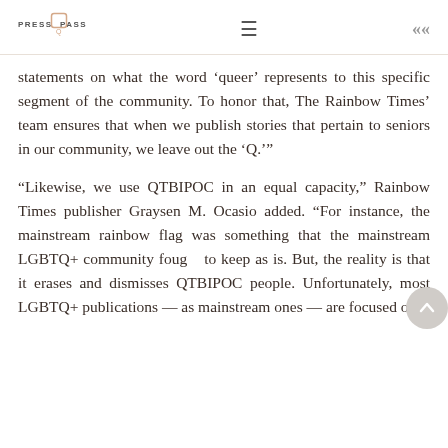PRESS PASS
statements on what the word ‘queer’ represents to this specific segment of the community. To honor that, The Rainbow Times’ team ensures that when we publish stories that pertain to seniors in our community, we leave out the ‘Q.’”
“Likewise, we use QTBIPOC in an equal capacity,” Rainbow Times publisher Graysen M. Ocasio added. “For instance, the mainstream rainbow flag was something that the mainstream LGBTQ+ community fought to keep as is. But, the reality is that it erases and dismisses QTBIPOC people. Unfortunately, most LGBTQ+ publications — as mainstream ones — are focused on